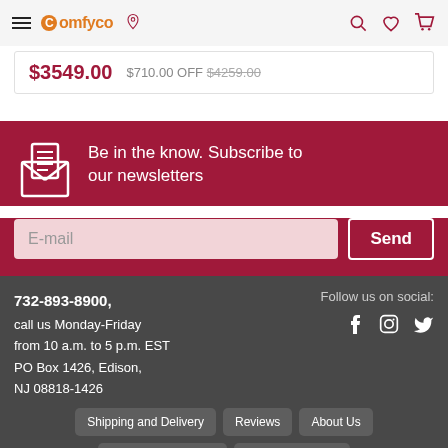Comfyco - hamburger menu, location icon, search, wishlist, cart
$3549.00  $710.00 OFF $4259.00
Be in the know. Subscribe to our newsletters
E-mail  Send
732-893-8900, call us Monday-Friday from 10 a.m. to 5 p.m. EST PO Box 1426, Edison, NJ 08818-1426  Follow us on social:
Shipping and Delivery
Reviews
About Us
Contact Information
Paypal Financing